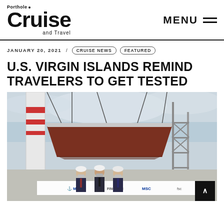Porthole Cruise and Travel — MENU
JANUARY 20, 2021 / CRUISE NEWS / FEATURED
U.S. VIRGIN ISLANDS REMIND TRAVELERS TO GET TESTED
[Figure (photo): Three men in hard hats and face masks standing in front of a large ship hull section being lifted by a crane at a shipyard, with MSC branding visible on a banner below them.]